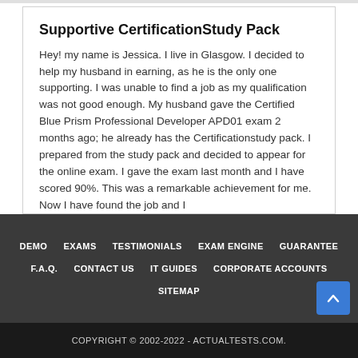Supportive CertificationStudy Pack
Hey! my name is Jessica. I live in Glasgow. I decided to help my husband in earning, as he is the only one supporting. I was unable to find a job as my qualification was not good enough. My husband gave the Certified Blue Prism Professional Developer APD01 exam 2 months ago; he already has the Certificationstudy pack. I prepared from the study pack and decided to appear for the online exam. I gave the exam last month and I have scored 90%. This was a remarkable achievement for me. Now I have found the job and I
DEMO  EXAMS  TESTIMONIALS  EXAM ENGINE  GUARANTEE  F.A.Q.  CONTACT US  IT GUIDES  CORPORATE ACCOUNTS  SITEMAP
COPYRIGHT © 2002-2022 - ACTUALTESTS.COM.